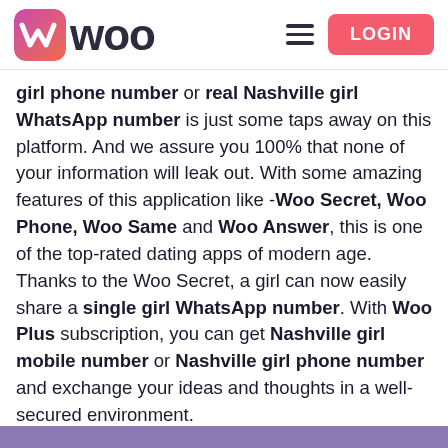[Figure (logo): Woo dating app logo with pink/purple gradient icon and 'woo' wordmark in dark color, hamburger menu icon, and pink LOGIN button]
girl phone number or real Nashville girl WhatsApp number is just some taps away on this platform. And we assure you 100% that none of your information will leak out. With some amazing features of this application like -Woo Secret, Woo Phone, Woo Same and Woo Answer, this is one of the top-rated dating apps of modern age. Thanks to the Woo Secret, a girl can now easily share a single girl WhatsApp number. With Woo Plus subscription, you can get Nashville girl mobile number or Nashville girl phone number and exchange your ideas and thoughts in a well-secured environment.
Register with us at Woo and let us know your experience. After all, you never know in which form love can strike you!